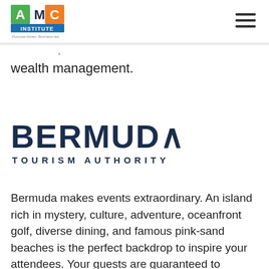AMC Institute — Purpose-driven. Business-led.
wealth management.
[Figure (logo): Bermuda Tourism Authority logo with large bold BERMUDA text and TOURISM AUTHORITY below]
Bermuda makes events extraordinary. An island rich in mystery, culture, adventure, oceanfront golf, diverse dining, and famous pink-sand beaches is the perfect backdrop to inspire your attendees. Your guests are guaranteed to embrace traditional